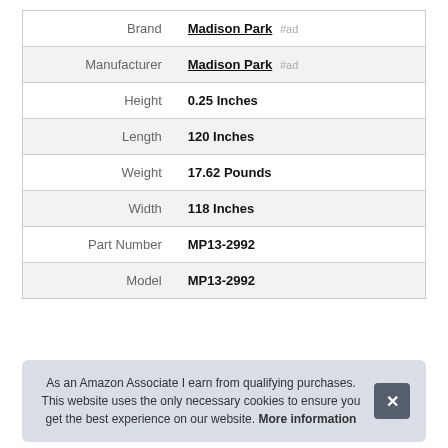| Label | Value |
| --- | --- |
| Brand | Madison Park #ad |
| Manufacturer | Madison Park #ad |
| Height | 0.25 Inches |
| Length | 120 Inches |
| Weight | 17.62 Pounds |
| Width | 118 Inches |
| Part Number | MP13-2992 |
| Model | MP13-2992 |
As an Amazon Associate I earn from qualifying purchases. This website uses the only necessary cookies to ensure you get the best experience on our website. More information